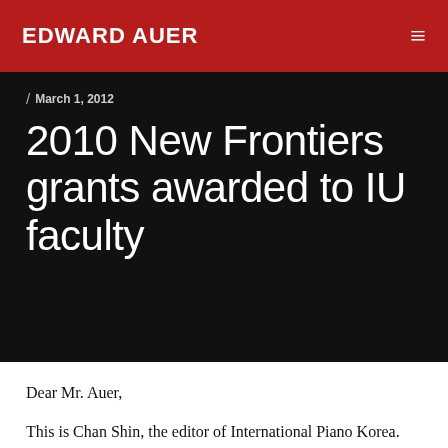EDWARD AUER
/ March 1, 2012
2010 New Frontiers grants awarded to IU faculty
Dear Mr. Auer,
This is Chan Shin, the editor of International Piano Korea. We